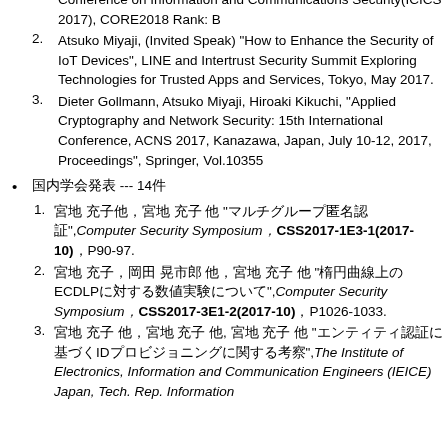Conference on Information and Communications Security(ICICS 2017), CORE2018 Rank: B
Atsuko Miyaji, (Invited Speak) "How to Enhance the Security of IoT Devices", LINE and Intertrust Security Summit Exploring Technologies for Trusted Apps and Services, Tokyo, May 2017.
Dieter Gollmann, Atsuko Miyaji, Hiroaki Kikuchi, "Applied Cryptography and Network Security: 15th International Conference, ACNS 2017, Kanazawa, Japan, July 10-12, 2017, Proceedings", Springer, Vol.10355
国内学会発表 --- 14件
宮地 充子他，宮地 充子 他 "マルチグループ匿名認証",Computer Security Symposium，CSS2017-1E3-1(2017-10)，P90-97.
宮地 充子，岡田 晃市郎 他，宮地 充子 他 "楕円曲線上のECDLPに対する数値実験について",Computer Security Symposium，CSS2017-3E1-2(2017-10)，P1026-1033.
宮地 充子 他，宮地 充子 他, 宮地 充子 他 "エンティティ認証に基づくIDプロビジョニングに関する考察",The Institute of Electronics, Information and Communication Engineers (IEICE) Japan, Tech. Rep. Information